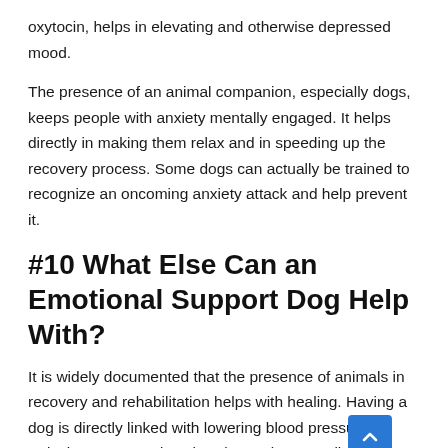oxytocin, helps in elevating and otherwise depressed mood.
The presence of an animal companion, especially dogs, keeps people with anxiety mentally engaged. It helps directly in making them relax and in speeding up the recovery process. Some dogs can actually be trained to recognize an oncoming anxiety attack and help prevent it.
#10 What Else Can an Emotional Support Dog Help With?
It is widely documented that the presence of animals in recovery and rehabilitation helps with healing. Having a dog is directly linked with lowering blood pressure, reducing stress and anxiety, improving overall cardiovascular health, and even helping in eventually reducing the medications some people take.
People with anxiety have reported that the physical effects of